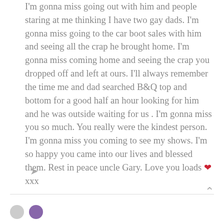I'm gonna miss going out with him and people staring at me thinking I have two gay dads. I'm gonna miss going to the car boot sales with him and seeing all the crap he brought home. I'm gonna miss coming home and seeing the crap you dropped off and left at ours. I'll always remember the time me and dad searched B&Q top and bottom for a good half an hour looking for him and he was outside waiting for us . I'm gonna miss you so much. You really were the kindest person. I'm gonna miss you coming to see my shows. I'm so happy you came into our lives and blessed them. Rest in peace uncle Gary. Love you loads ❤ xxx